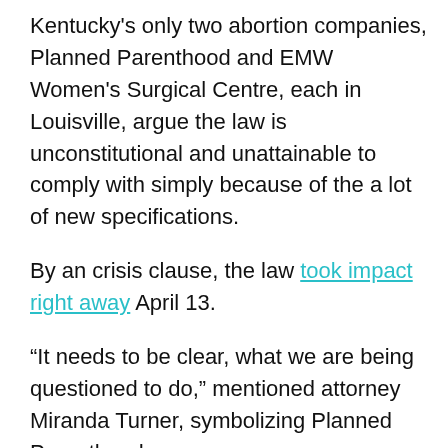Kentucky's only two abortion companies, Planned Parenthood and EMW Women's Surgical Centre, each in Louisville, argue the law is unconstitutional and unattainable to comply with simply because of the a lot of new specifications.
By an crisis clause, the law took impact right away April 13.
“It needs to be clear, what we are being questioned to do,” mentioned attorney Miranda Turner, symbolizing Planned Parenthood.
But a lawyer for Kentucky Attorney Normal Daniel Cameron, who is defending the HB 3, said clinics could comply with many requirements by only offering info spelled